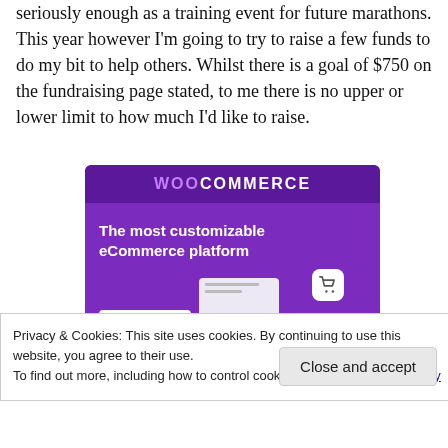seriously enough as a training event for future marathons. This year however I'm going to try to raise a few funds to do my bit to help others. Whilst there is a goal of $750 on the fundraising page stated, to me there is no upper or lower limit to how much I'd like to raise.
[Figure (screenshot): WooCommerce advertisement banner showing 'The most customizable eCommerce platform' on a purple background with a shopping cart icon and a 'Start a new store' button.]
Privacy & Cookies: This site uses cookies. By continuing to use this website, you agree to their use.
To find out more, including how to control cookies, see here: Cookie Policy
Close and accept